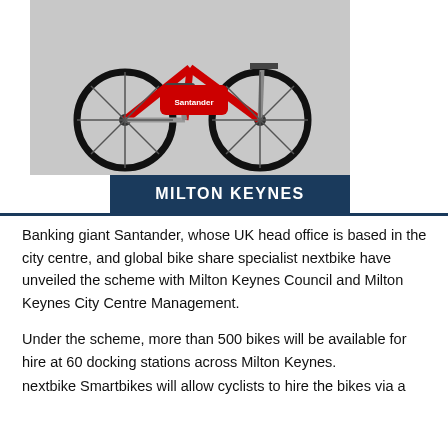[Figure (photo): Photo of a red and white Santander branded bicycle (bike share scheme), shown against a light grey background. Below the photo is a dark navy blue banner label reading 'MILTON KEYNES' in white bold text.]
Banking giant Santander, whose UK head office is based in the city centre, and global bike share specialist nextbike have unveiled the scheme with Milton Keynes Council and Milton Keynes City Centre Management.
Under the scheme, more than 500 bikes will be available for hire at 60 docking stations across Milton Keynes.
nextbike Smartbikes will allow cyclists to hire the bikes via a specially designed app on their phone, with membership cards or via the cycle itself. The scheme will use the 169-mile network of redways around Milton Keynes.
Santander is a major employer in Milton Keynes and already